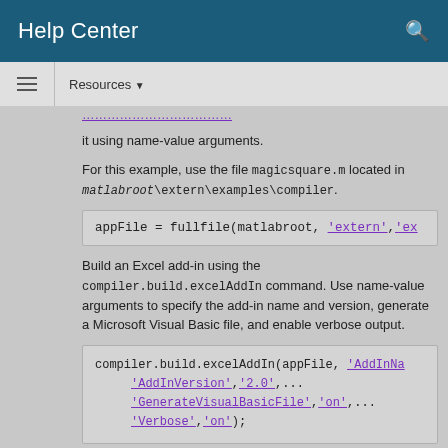Help Center
Resources ▼
it using name-value arguments.
For this example, use the file magicsquare.m located in matlabroot\extern\examples\compiler.
[Figure (screenshot): Code block: appFile = fullfile(matlabroot, 'extern','ex]
Build an Excel add-in using the compiler.build.excelAddIn command. Use name-value arguments to specify the add-in name and version, generate a Microsoft Visual Basic file, and enable verbose output.
[Figure (screenshot): Code block: compiler.build.excelAddIn(appFile, 'AddInName',...
    'AddInVersion','2.0',...
    'GenerateVisualBasicFile','on',...
    'Verbose','on');]
The function generates the following files within a folder